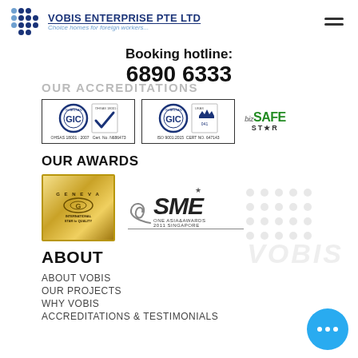VOBIS ENTERPRISE PTE LTD | Choice homes for foreign workers...
Booking hotline:
6890 6333
OUR ACCREDITATIONS
[Figure (logo): OHSAS 18001:2007 Cert. No. N686473 and ISO 9001:2015 CERT NO. 647143 and bizSAFE STAR accreditation logos]
OUR AWARDS
[Figure (logo): Geneva International Star Quality award badge and SME One Asia Awards 2011 Singapore badge]
ABOUT
ABOUT VOBIS
OUR PROJECTS
WHY VOBIS
ACCREDITATIONS & TESTIMONIALS